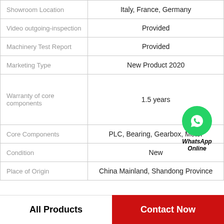| Attribute | Value |
| --- | --- |
| Showroom Location | Italy, France, Germany |
| Video outgoing-inspection | Provided |
| Machinery Test Report | Provided |
| Marketing Type | New Product 2020 |
| Warranty of core components | 1.5 years |
| Core Components | PLC, Bearing, Gearbox, Motor |
| Condition | New |
| Place of Origin | China Mainland, Shandong Province |
[Figure (logo): WhatsApp Online icon with green phone logo and italic bold text 'WhatsApp Online']
All Products
Contact Now